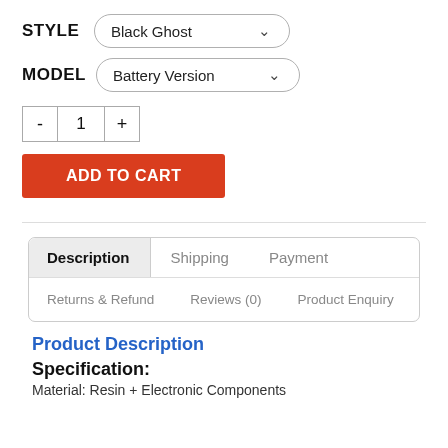STYLE   Black Ghost ▾
MODEL   Battery Version ▾
- 1 +
ADD TO CART
Description   Shipping   Payment   Returns & Refund   Reviews (0)   Product Enquiry
Product Description
Specification:
Material: Resin + Electronic Components